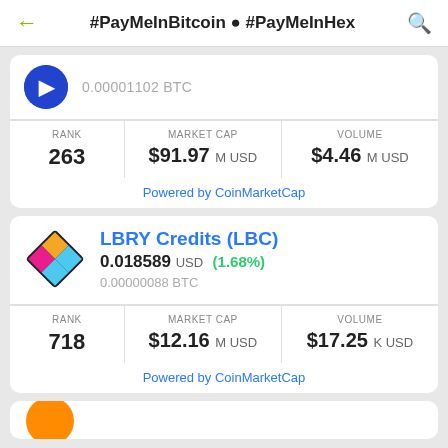#PayMeInBitcoin ● #PayMeInHex
0.00001102 BTC
| RANK | MARKET CAP | VOLUME |
| --- | --- | --- |
| 263 | $91.97 M USD | $4.46 M USD |
Powered by CoinMarketCap
LBRY Credits (LBC)
0.018589 USD (1.68%)
0.00000088 BTC
| RANK | MARKET CAP | VOLUME |
| --- | --- | --- |
| 718 | $12.16 M USD | $17.25 K USD |
Powered by CoinMarketCap